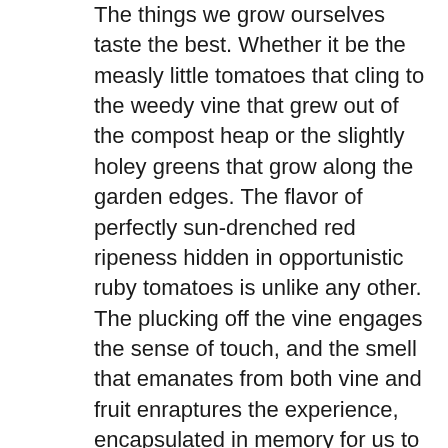The things we grow ourselves taste the best. Whether it be the measly little tomatoes that cling to the weedy vine that grew out of the compost heap or the slightly holey greens that grow along the garden edges. The flavor of perfectly sun-drenched red ripeness hidden in opportunistic ruby tomatoes is unlike any other. The plucking off the vine engages the sense of touch, and the smell that emanates from both vine and fruit enraptures the experience, encapsulated in memory for us to relish later. The taste and texture as we consume them are unparalleled and forces us to close our eyes to fully engage in the absolute beauty of nature's bounty.  These prescient moments in life are rare, as modern